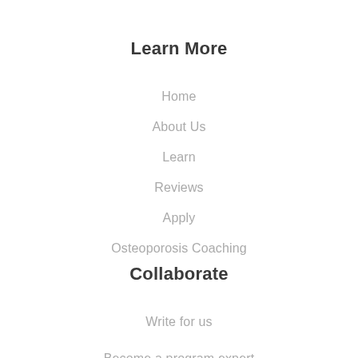Learn More
Home
About Us
Learn
Reviews
Apply
Osteoporosis Coaching
Collaborate
Write for us
Become a program expert